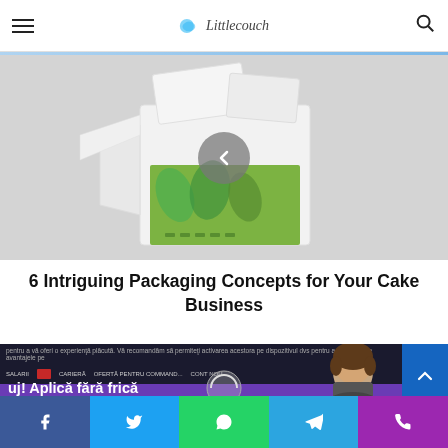Littlecouch — navigation bar with hamburger menu, logo, and search icon
[Figure (photo): White cardboard box packaging open at the top, with a product featuring green tropical leaf design visible below, on a light grey background. A circular grey back-arrow navigation button overlays the center.]
6 Intriguing Packaging Concepts for Your Cake Business
[Figure (screenshot): Screenshot of a purple-themed website with a dark navigation bar, text in Romanian 'Aplică fără frică', a person's face visible on the right, and a blue button with an up-arrow on the far right.]
Social sharing bar: Facebook, Twitter, WhatsApp, Telegram, Phone